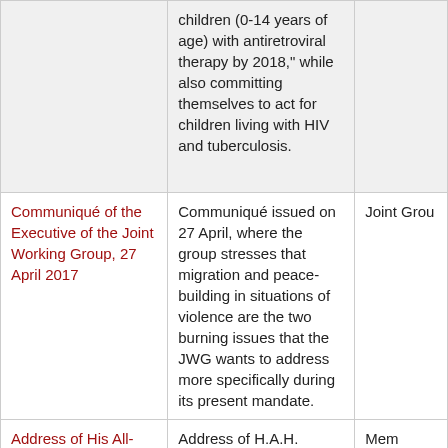|  | children (0-14 years of age) with antiretroviral therapy by 2018," while also committing themselves to act for children living with HIV and tuberculosis. |  |
| Communiqué of the Executive of the Joint Working Group, 27 April 2017 | Communiqué issued on 27 April, where the group stresses that migration and peace-building in situations of violence are the two burning issues that the JWG wants to address more specifically during its present mandate. | Joint Grou |
| Address of His All-Holiness Ecumenical Patriarch Bartholomew | Address of H.A.H. Ecumenical Patriarch Bartholomew, at the | Mem |